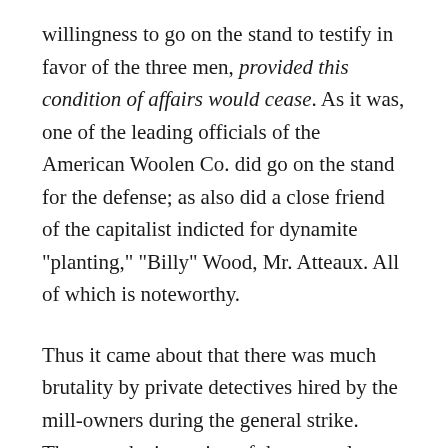willingness to go on the stand to testify in favor of the three men, provided this condition of affairs would cease. As it was, one of the leading officials of the American Woolen Co. did go on the stand for the defense; as also did a close friend of the capitalist indicted for dynamite "planting," "Billy" Wood, Mr. Atteaux. All of which is noteworthy.
Thus it came about that there was much brutality by private detectives hired by the mill-owners during the general strike. These, at the inception of the general strike, attacked the more active of the mill employees in favor of the general strike with long clubs, loaded with lead, and drove them out of the mills, inflicting many injuries. The police also acted with ferocity. They drove 200 men and women up a blind alley near the Arlington Mills and attacked them without mercy. One